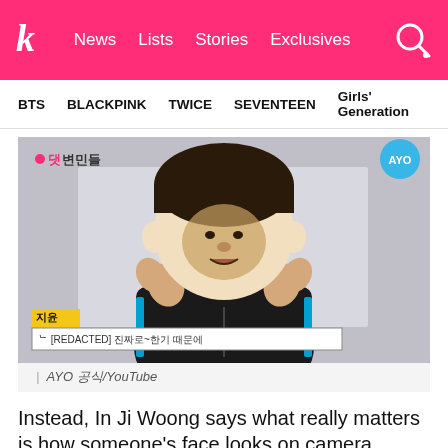k! News Lists Stories Exclusives
BTS BLACKPINK TWICE SEVENTEEN Girls' Generation
[Figure (screenshot): Screenshot from AYO YouTube video showing a person in a black hoodie with a cartoon face overlay (large round face with bowl-cut hair). Korean text watermark top left reading 댓변민들, AYO logo top right. Name tag showing 지윤 with Korean subtitle text.]
| AYO 공식/YouTube
Instead, In Ji Woong says what really matters is how someone's face looks on camera.